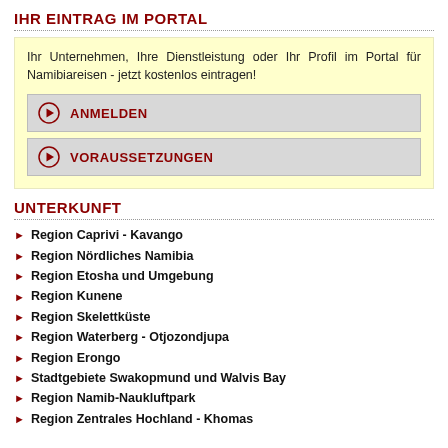IHR EINTRAG IM PORTAL
Ihr Unternehmen, Ihre Dienstleistung oder Ihr Profil im Portal für Namibiareisen - jetzt kostenlos eintragen!
ANMELDEN
VORAUSSETZUNGEN
UNTERKUNFT
Region Caprivi - Kavango
Region Nördliches Namibia
Region Etosha und Umgebung
Region Kunene
Region Skelettküste
Region Waterberg - Otjozondjupa
Region Erongo
Stadtgebiete Swakopmund und Walvis Bay
Region Namib-Naukluftpark
Region Zentrales Hochland - Khomas